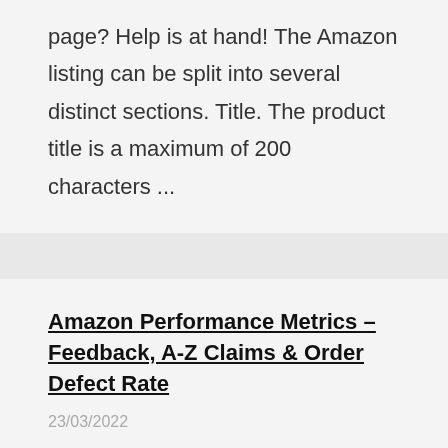page? Help is at hand! The Amazon listing can be split into several distinct sections. Title. The product title is a maximum of 200 characters ...
Amazon Performance Metrics – Feedback, A-Z Claims & Order Defect Rate
23/03/2022
Amazon is serious about its performance metrics and getting on the wrong side of